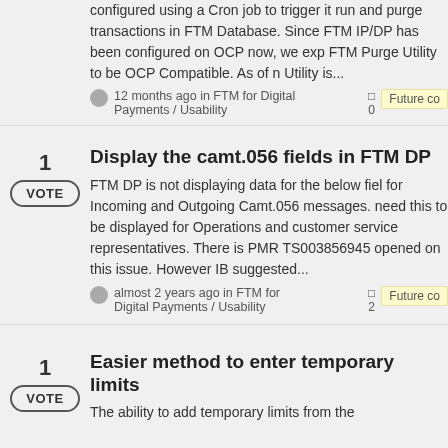configured using a Cron job to trigger it run and purge transactions in FTM Database. Since FTM IP/DP has been configured on OCP now, we exp FTM Purge Utility to be OCP Compatible. As of n Utility is...
12 months ago in FTM for Digital Payments / Usability   0   Future co
Display the camt.056 fields in FTM DP
FTM DP is not displaying data for the below fiel for Incoming and Outgoing Camt.056 messages. need this to be displayed for Operations and customer service representatives. There is PMR TS003856945 opened on this issue. However IB suggested...
almost 2 years ago in FTM for Digital Payments / Usability   2   Future co
Easier method to enter temporary limits
The ability to add temporary limits from the